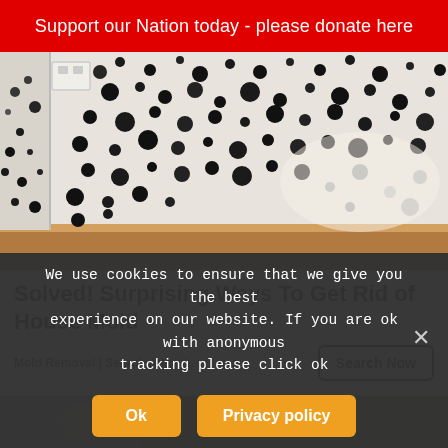Support our Nation today - please donate here
[Figure (photo): Photo of black mold growing on white walls in a corner of a room, with wooden baseboard visible at the bottom.]
Solved! Surprising Ways To Get Rid of House Mold
Mold Removal | Search Ads | Sponsored
[Figure (photo): Partial view of a second advertisement image, cropped at the bottom of the page.]
We use cookies to ensure that we give you the best experience on our website. If you are ok with anonymous tracking please click ok
Ok
Privacy policy